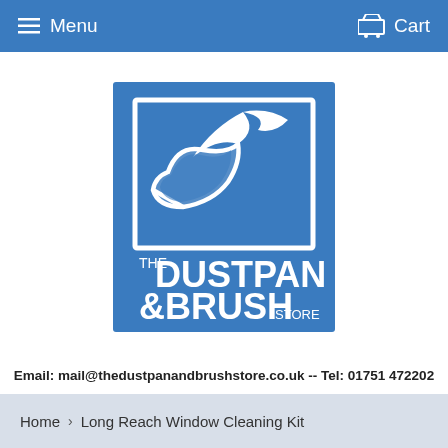Menu   Cart
[Figure (logo): The Dustpan & Brush Store logo — blue square background with white outline illustration of a dustpan and brush, text reading THE DUSTPAN & BRUSH STORE]
Email: mail@thedustpanandbrushstore.co.uk -- Tel: 01751 472202
Home › Long Reach Window Cleaning Kit